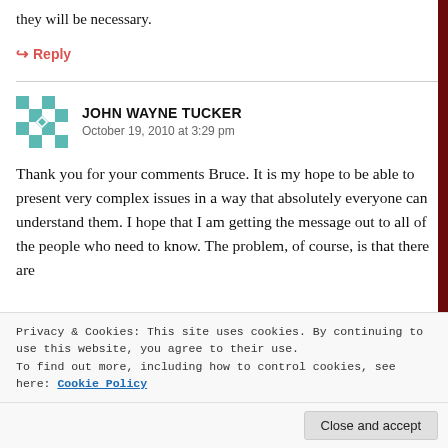they will be necessary.
↪ Reply
JOHN WAYNE TUCKER
October 19, 2010 at 3:29 pm
Thank you for your comments Bruce. It is my hope to be able to present very complex issues in a way that absolutely everyone can understand them. I hope that I am getting the message out to all of the people who need to know. The problem, of course, is that there are
Privacy & Cookies: This site uses cookies. By continuing to use this website, you agree to their use.
To find out more, including how to control cookies, see here: Cookie Policy
Close and accept